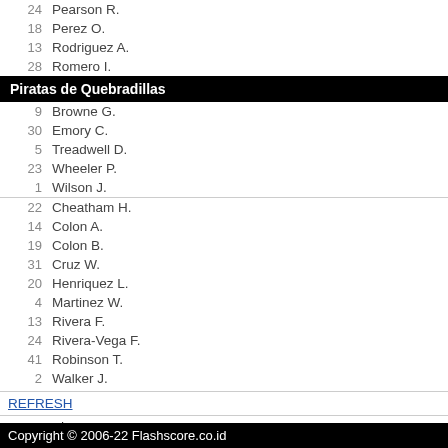24  Pearson R.
18  Perez O.
13  Rodriguez A.
28  Romero I.
Piratas de Quebradillas
9  Browne G.
30  Emory C.
5  Treadwell D.
23  Wheeler P.
1  Wilson J.
22  Cheatham H.
14  Colon A.
19  Colon B.
31  Cruz W.
20  Henriquez L.
4  Martinez W.
13  Rivera F.
24  Rivera-Vega F.
41  Robinson T.
2  Walker J.
REFRESH
Kembali | Atas
Flashscore.co.id menyediakan skor langsung bola basket - livescore mobile. Versi mobile / telepon genggam ini memiliki parameter yang berbeda dengan situs web Flashscore.co.id karena alasan teknis.
Copyright © 2006-22 Flashscore.co.id